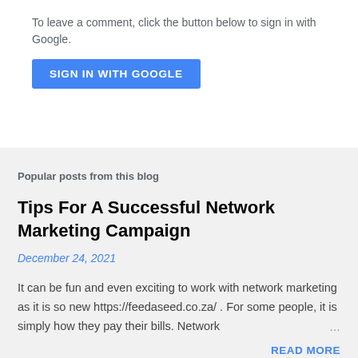To leave a comment, click the button below to sign in with Google.
[Figure (other): Blue 'SIGN IN WITH GOOGLE' button]
Popular posts from this blog
Tips For A Successful Network Marketing Campaign
December 24, 2021
It can be fun and even exciting to work with network marketing as it is so new https://feedaseed.co.za/ . For some people, it is simply how they pay their bills. Network …
READ MORE